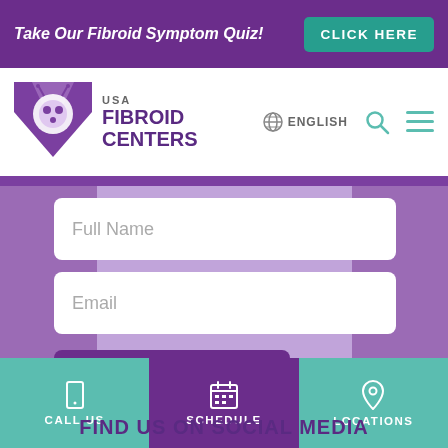Take Our Fibroid Symptom Quiz! CLICK HERE
[Figure (logo): USA Fibroid Centers logo with stylized ladybug/uterus icon in purple]
ENGLISH
Full Name
Email
SUBSCRIBE
FIND US ON SOCIAL MEDIA
CALL US  SCHEDULE  LOCATIONS